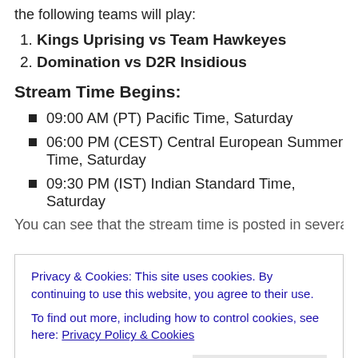the following teams will play:
Kings Uprising vs Team Hawkeyes
Domination vs D2R Insidious
Stream Time Begins:
09:00 AM (PT) Pacific Time, Saturday
06:00 PM (CEST) Central European Summer Time, Saturday
09:30 PM (IST) Indian Standard Time, Saturday
You can see that the stream time is posted in several time
Privacy & Cookies: This site uses cookies. By continuing to use this website, you agree to their use. To find out more, including how to control cookies, see here: Privacy Policy & Cookies
your convenience. Finally, you can find the updated